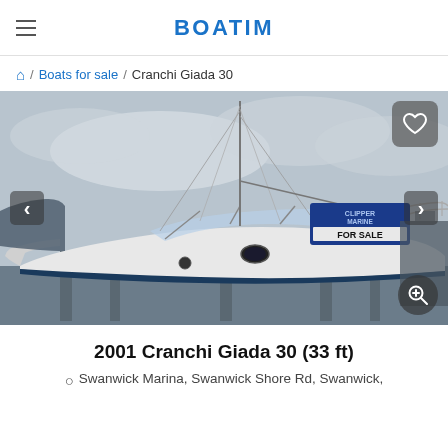BOATIM
/ Boats for sale / Cranchi Giada 30
[Figure (photo): Photo of a 2001 Cranchi Giada 30 motorboat (33 ft) on boat stands out of water, showing white hull, mast, and a 'Clipper Marine FOR SALE' sign on the bow. Overcast sky background.]
2001 Cranchi Giada 30 (33 ft)
Swanwick Marina, Swanwick Shore Rd, Swanwick,